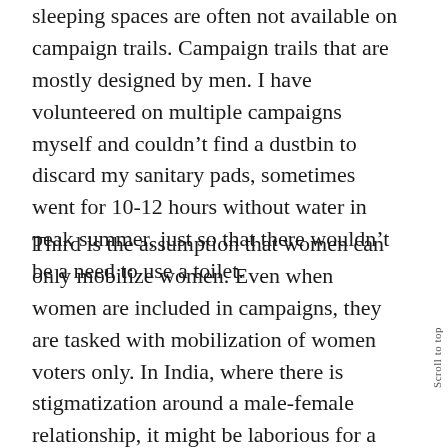sleeping spaces are often not available on campaign trails. Campaign trails that are mostly designed by men. I have volunteered on multiple campaigns myself and couldn't find a dustbin to discard my sanitary pads, sometimes went for 10-12 hours without water in peak summer, just so that there wouldn't be a need to use a toilet.
Third is the assumption that women can only mobilize women. Even when women are included in campaigns, they are tasked with mobilization of women voters only. In India, where there is stigmatization around a male-female relationship, it might be laborious for a male candidate to organize the women voters. As a last resort, he might seek the help of women members of his family to channel his cause. Even we have witnessed women